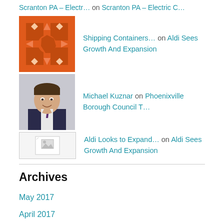Scranton PA – Electr… on Scranton PA – Electric C…
Shipping Containers… on Aldi Sees Growth And Expansion
Michael Kuznar on Phoenixville Borough Council T…
Aldi Looks to Expand… on Aldi Sees Growth And Expansion
Archives
May 2017
April 2017
March 2017
February 2017
January 2017
December 2016
November 2016